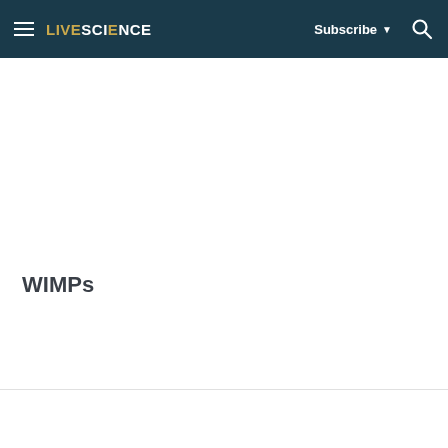LIVESCIENCE  Subscribe ▼ 🔍
WIMPs